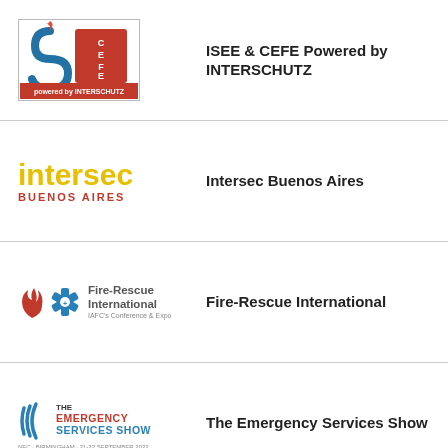[Figure (logo): ISEE & CEFE Powered by INTERSCHUTZ logo with stylized S and CEFE text inside a bordered box]
ISEE & CEFE Powered by INTERSCHUTZ
[Figure (logo): Intersec Buenos Aires logo with yellow 'intersec' wordmark and red 'BUENOS AIRES' text]
Intersec Buenos Aires
[Figure (logo): Fire-Rescue International logo with flame, star of life icon, and text]
Fire-Rescue International
[Figure (logo): The Emergency Services Show logo with wave/signal graphic and red/blue text]
The Emergency Services Show